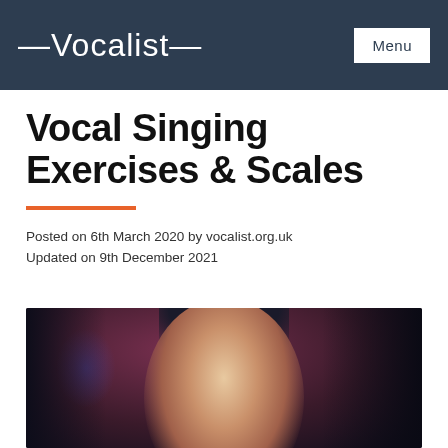Vocalist | Menu
Vocal Singing Exercises & Scales
Posted on 6th March 2020 by vocalist.org.uk
Updated on 9th December 2021
[Figure (photo): A young woman wearing headphones singing with eyes closed in a dark recording studio environment, with warm lighting on her face and blue/purple accent lighting in the background.]